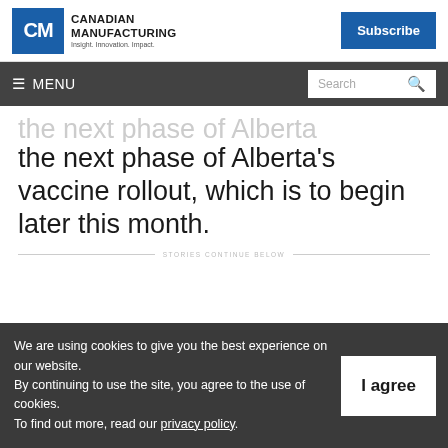Canadian Manufacturing — Insight. Innovation. Impact.
the next phase of Alberta's vaccine rollout, which is to begin later this month.
STORIES CONTINUE BELOW
We are using cookies to give you the best experience on our website. By continuing to use the site, you agree to the use of cookies. To find out more, read our privacy policy.